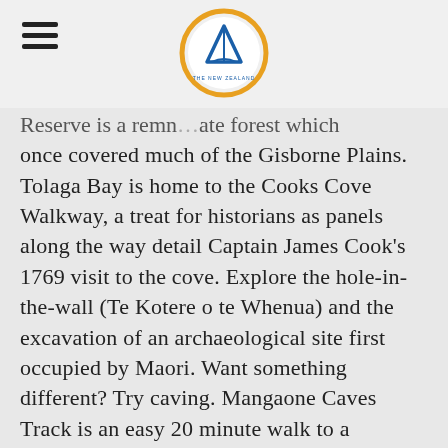[hamburger menu icon] [New Zealand logo]
Reserve is a remn... ...ate forest which once covered much of the Gisborne Plains. Tolaga Bay is home to the Cooks Cove Walkway, a treat for historians as panels along the way detail Captain James Cook's 1769 visit to the cove. Explore the hole-in-the-wall (Te Kotere o te Whenua) and the excavation of an archaeological site first occupied by Maori. Want something different? Try caving. Mangaone Caves Track is an easy 20 minute walk to a limestone cave. Longer wilderness tramps such as the Manganuku track are accessed further from Gisborne in the East Cape region.